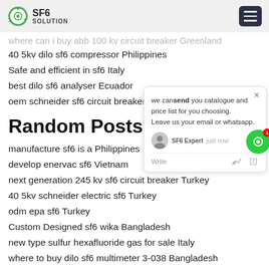SF6 SOLUTION
where can i buy abb 100 kv circuit breaker Greenland
40 5kv dilo sf6 compressor Philippines
Safe and efficient in sf6 Italy
best dilo sf6 analyser Ecuador
oem schneider sf6 circuit breaker Malay
Random Posts:
manufacture sf6 is a Philippines
develop enervac sf6 Vietnam
next generation 245 kv sf6 circuit breaker Turkey
40 5kv schneider electric sf6 Turkey
odm epa sf6 Turkey
Custom Designed sf6 wika Bangladesh
new type sulfur hexafluoride gas for sale Italy
where to buy dilo sf6 multimeter 3-038 Bangladesh